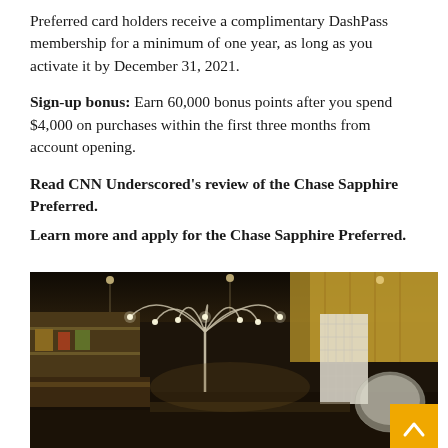Preferred card holders receive a complimentary DashPass membership for a minimum of one year, as long as you activate it by December 31, 2021.
Sign-up bonus: Earn 60,000 bonus points after you spend $4,000 on purchases within the first three months from account opening.
Read CNN Underscored's review of the Chase Sapphire Preferred. Learn more and apply for the Chase Sapphire Preferred.
[Figure (photo): Interior photo of a luxury hotel lobby with warm wood paneling, ambient arc lighting fixtures, a decorative white lattice partition, bar/counter area on the left, and an orange back-to-top button in the bottom right corner.]